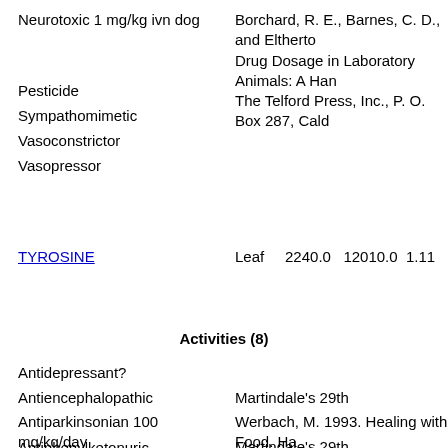Neurotoxic 1 mg/kg ivn dog
Borchard, R. E., Barnes, C. D., and Eltherton Drug Dosage in Laboratory Animals: A Han The Telford Press, Inc., P. O. Box 287, Cald
Pesticide
Sympathomimetic
Vasoconstrictor
Vasopressor
TYROSINE    Leaf    2240.0    12010.0    1.11
Activities (8)
Antidepressant?
Antiencephalopathic
Martindale's 29th
Antiparkinsonian 100 mg/kg/day
Werbach, M. 1993. Healing with Food. Ha York, 443 pp.
Antiphenylketonuric
Martindale's 29th
Borchard, R. E., Barnes, C. D., and Elthert